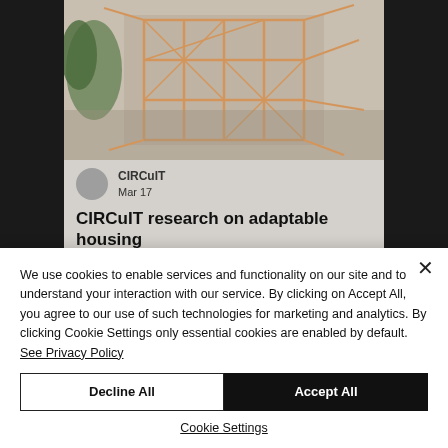[Figure (photo): Aerial view of a timber frame building structure under construction, showing wooden skeletal framework from above]
CIRCuIT
Mar 17
CIRCuIT research on adaptable housing
We use cookies to enable services and functionality on our site and to understand your interaction with our service. By clicking on Accept All, you agree to our use of such technologies for marketing and analytics. By clicking Cookie Settings only essential cookies are enabled by default. See Privacy Policy
Decline All
Accept All
Cookie Settings